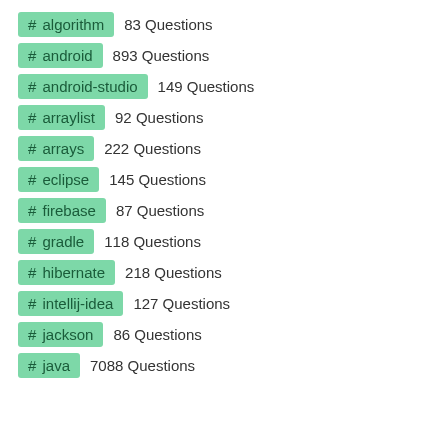# algorithm  83 Questions
# android  893 Questions
# android-studio  149 Questions
# arraylist  92 Questions
# arrays  222 Questions
# eclipse  145 Questions
# firebase  87 Questions
# gradle  118 Questions
# hibernate  218 Questions
# intellij-idea  127 Questions
# jackson  86 Questions
# java  7088 Questions